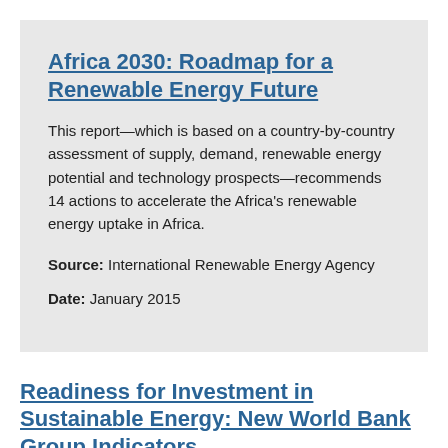Africa 2030: Roadmap for a Renewable Energy Future
This report—which is based on a country-by-country assessment of supply, demand, renewable energy potential and technology prospects—recommends 14 actions to accelerate the Africa's renewable energy uptake in Africa.
Source: International Renewable Energy Agency
Date: January 2015
Readiness for Investment in Sustainable Energy: New World Bank Group Indicators